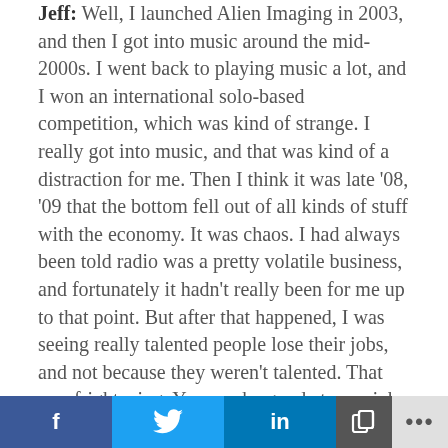Jeff: Well, I launched Alien Imaging in 2003, and then I got into music around the mid-2000s. I went back to playing music a lot, and I won an international solo-based competition, which was kind of strange. I really got into music, and that was kind of a distraction for me. Then I think it was late '08, '09 that the bottom fell out of all kinds of stuff with the economy. It was chaos. I had always been told radio was a pretty volatile business, and fortunately it hadn't really been for me up to that point. But after that happened, I was seeing really talented people lose their jobs, and not because they weren't talented. That was frightening. You can be good at your job and still lose your job. Fortunately I stayed employed in radio, but a lot of people I knew and respected didn't. So I was kind of expecting any day that I
f   t   in   [copy]   ...